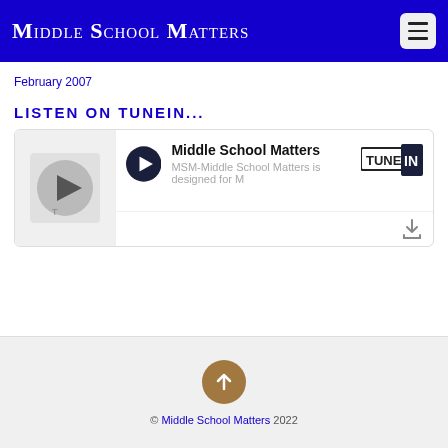Middle School Matters
February 2007
LISTEN ON TUNEIN...
[Figure (screenshot): TuneIn embedded player widget showing Middle School Matters podcast with play button, thumbnail, and description: MSM-Middle School Matters is designed for M...]
© Middle School Matters 2022